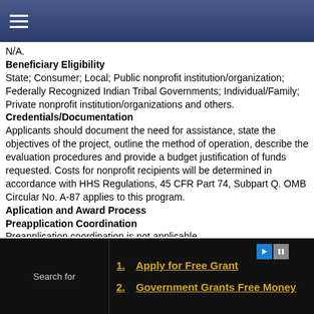N/A.
Beneficiary Eligibility
State; Consumer; Local; Public nonprofit institution/organization; Federally Recognized Indian Tribal Governments; Individual/Family; Private nonprofit institution/organizations and others.
Credentials/Documentation
Applicants should document the need for assistance, state the objectives of the project, outline the method of operation, describe the evaluation procedures and provide a budget justification of funds requested. Costs for nonprofit recipients will be determined in accordance with HHS Regulations, 45 CFR Part 74, Subpart Q. OMB Circular No. A-87 applies to this program.
Aplication and Award Process
Preapplication Coordination
Preapplication coordination is not applicable.
Environmental impact information is not required for this program.
This program is excluded from coverage under E.O.
12372.
Search for
1. Apply for Free Grant
2. Government Grants Free Money